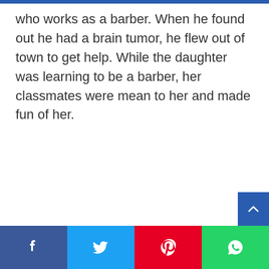who works as a barber. When he found out he had a brain tumor, he flew out of town to get help. While the daughter was learning to be a barber, her classmates were mean to her and made fun of her.